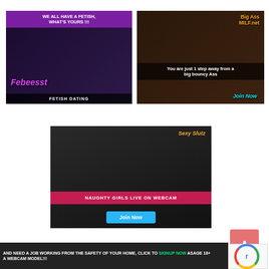[Figure (photo): Fetish dating advertisement banner with text 'WE ALL HAVE A FETISH, WHAT'S YOURS !!!' and 'FETISH DATING' label with Febeesst logo]
[Figure (photo): Big Ass MILF.net advertisement banner with text 'You are just 1 step away from a big bouncy Ass' and 'Join Now' button]
[Figure (photo): Naughty Girls Live On Webcam advertisement with 'Sexy Slutz' text, 'NAUGHTY GIRLS LIVE ON WEBCAM' banner and 'Join Now' button]
AND NEED A JOB WORKING FROM THE SAFETY OF YOUR HOME, CLICK TO SIGNUP NOW ASAGE 18+ A WEBCAM MODEL!!!